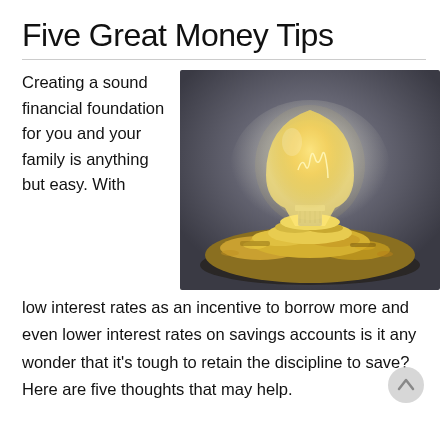Five Great Money Tips
Creating a sound financial foundation for you and your family is anything but easy. With
[Figure (photo): A glowing light bulb sitting on top of a pile of coins against a dark grey background, symbolizing financial ideas and savings.]
low interest rates as an incentive to borrow more and even lower interest rates on savings accounts is it any wonder that it's tough to retain the discipline to save? Here are five thoughts that may help.